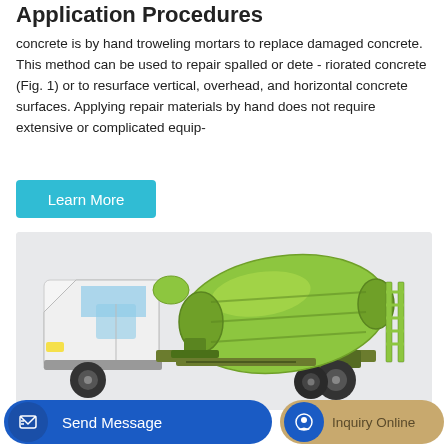Application Procedures
concrete is by hand troweling mortars to replace damaged concrete. This method can be used to repair spalled or dete - riorated concrete (Fig. 1) or to resurface vertical, overhead, and horizontal concrete surfaces. Applying repair materials by hand does not require extensive or complicated equip-
[Figure (other): A cyan/blue 'Learn More' button]
[Figure (photo): A concrete mixer truck with white cab and bright green/lime colored rotating drum, photographed on a light gray background]
[Figure (other): Bottom navigation bar with 'Send Message' blue button and 'Inquiry Online' tan/gold button]